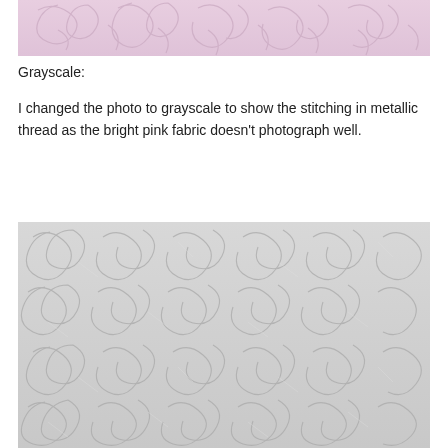[Figure (photo): Close-up photo of pink quilted fabric with floral/leaf stitching pattern in metallic thread, top portion cropped]
Grayscale:
I changed the photo to grayscale to show the stitching in metallic thread as the bright pink fabric doesn't photograph well.
[Figure (photo): Grayscale close-up photo of quilted fabric showing the same floral/leaf stitching pattern with metallic thread more visible]